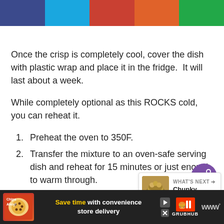[Figure (other): Colored horizontal bar with five sections: dark blue, cyan/light blue, red, orange, green]
Once the crisp is completely cool, cover the dish with plastic wrap and place it in the fridge.  It will last about a week.
While completely optional as this ROCKS cold, you can reheat it.
1. Preheat the oven to 350F.
2. Transfer the mixture to an oven-safe serving dish and reheat for 15 minutes or just enough to warm through.
[Figure (other): Purple circular share button with share icon]
[Figure (other): What's Next panel showing Chunky Portabella... with food image]
[Figure (other): Advertisement bar: Chips Ahoy - Save time with convenience store delivery - GrubHub]